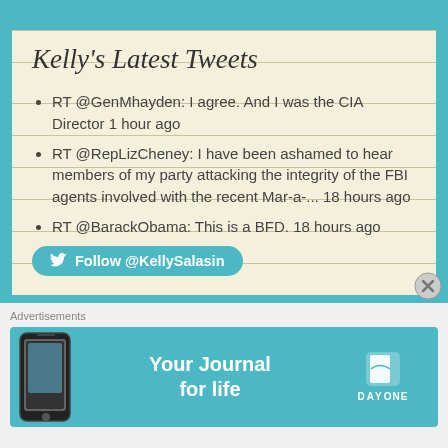Kelly's Latest Tweets
RT @GenMhayden: I agree. And I was the CIA Director 1 hour ago
RT @RepLizCheney: I have been ashamed to hear members of my party attacking the integrity of the FBI agents involved with the recent Mar-a-... 18 hours ago
RT @BarackObama: This is a BFD. 18 hours ago
Follow @KellySalasin
Advertisements
[Figure (screenshot): Advertisement banner for Day One journal app showing phone and 'Your Journal for life' text]